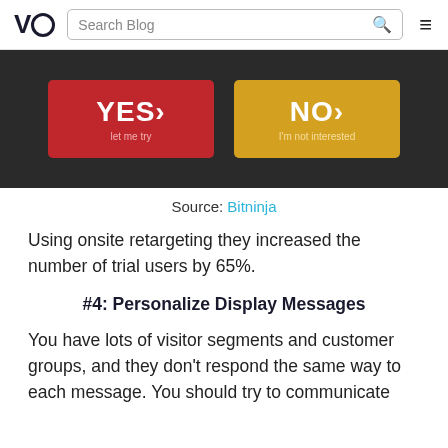VWO | Search Blog
[Figure (screenshot): A popup with two buttons: a red 'YES› let me try' button and a golden/yellow 'NO› I'm not interested' button on a dark background.]
Source: Bitninja
Using onsite retargeting they increased the number of trial users by 65%.
#4: Personalize Display Messages
You have lots of visitor segments and customer groups, and they don't respond the same way to each message. You should try to communicate